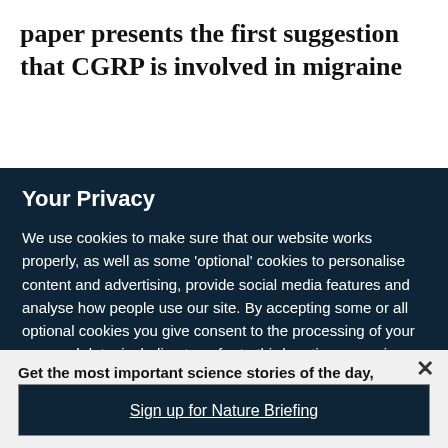paper presents the first suggestion that CGRP is involved in migraine
Your Privacy
We use cookies to make sure that our website works properly, as well as some 'optional' cookies to personalise content and advertising, provide social media features and analyse how people use our site. By accepting some or all optional cookies you give consent to the processing of your personal data, including transfer to third parties, some in countries outside of the European Economic Area that do not offer the same data protection standards as the country where you live. You can decide which optional cookies to accept by clicking on 'Manage Settings', where you can
Get the most important science stories of the day, free in your inbox.
Sign up for Nature Briefing